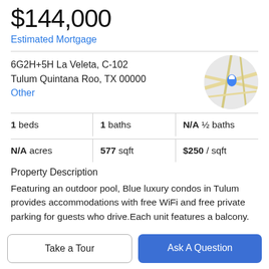$144,000
Estimated Mortgage
6G2H+5H La Veleta, C-102
Tulum Quintana Roo, TX 00000
Other
[Figure (map): Circular map thumbnail showing location pin over street map]
| 1 beds | 1 baths | N/A ½ baths |
| N/A acres | 577 sqft | $250 / sqft |
Property Description
Featuring an outdoor pool, Blue luxury condos in Tulum provides accommodations with free WiFi and free private parking for guests who drive.Each unit features a balcony.
Take a Tour
Ask A Question